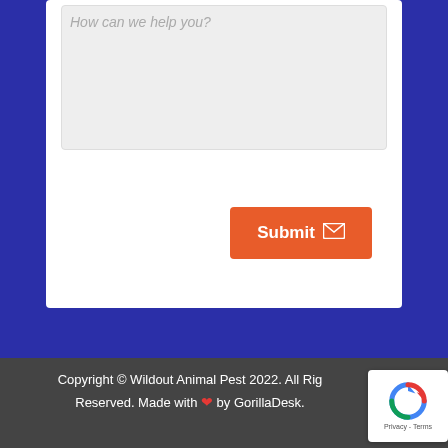[Figure (screenshot): A textarea input box with light gray background and placeholder text 'How can we help you?']
[Figure (screenshot): An orange Submit button with a mail envelope icon]
Copyright © Wildout Animal Pest 2022. All Rights Reserved. Made with ❤ by GorillaDesk.